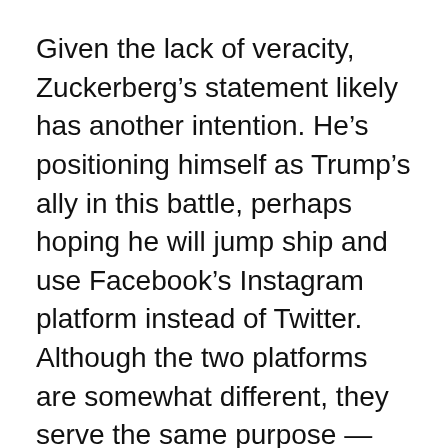Given the lack of veracity, Zuckerberg’s statement likely has another intention. He’s positioning himself as Trump’s ally in this battle, perhaps hoping he will jump ship and use Facebook’s Instagram platform instead of Twitter. Although the two platforms are somewhat different, they serve the same purpose — disseminating small messages and images to followers.
Silicon Valley elites talk in magnanimous platitudes, but at the end of the day, they only care about money. Zuckerberg isn’t concerned with freedom of speech. It doesn’t exist on